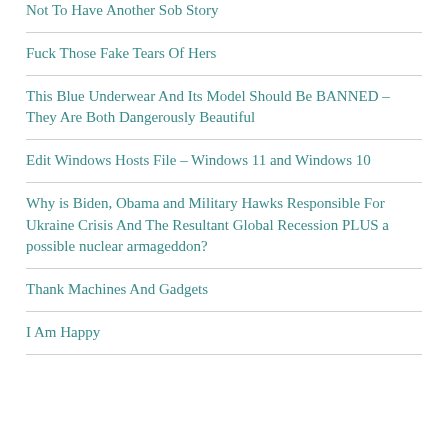Not To Have Another Sob Story
Fuck Those Fake Tears Of Hers
This Blue Underwear And Its Model Should Be BANNED – They Are Both Dangerously Beautiful
Edit Windows Hosts File – Windows 11 and Windows 10
Why is Biden, Obama and Military Hawks Responsible For Ukraine Crisis And The Resultant Global Recession PLUS a possible nuclear armageddon?
Thank Machines And Gadgets
I Am Happy